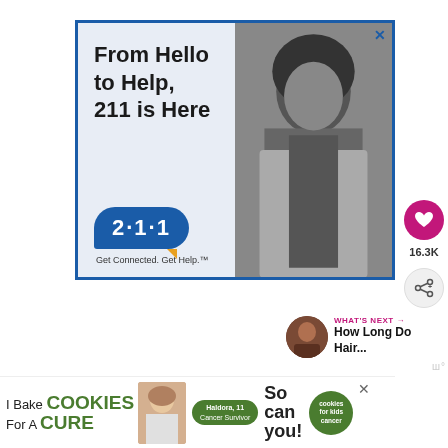[Figure (infographic): Advertisement banner: 'From Hello to Help, 211 is Here' with 2·1·1 logo bubble and 'Get Connected. Get Help.' tagline, alongside a black-and-white photo of a young woman in a denim jacket.]
16.3K
WHAT'S NEXT → How Long Do Hair...
[Figure (infographic): Bottom advertisement banner: 'I Bake COOKIES For A CURE' with Haldora, 11 Cancer Survivor badge, 'So can you!' text, cookies for kids cancer logo, and a photo of a girl with cookies.]